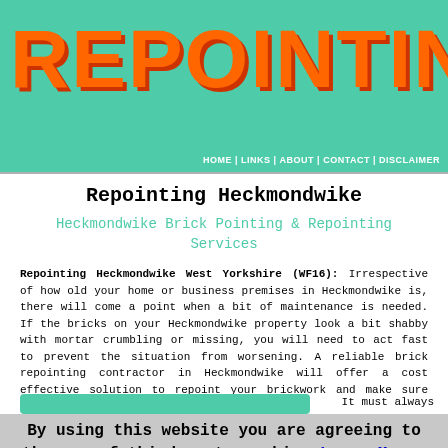REPOINTING
HOME | LINKS | ABOUT | CONTACT | DISCLAIMER
Repointing Heckmondwike
Heckmondwike Brick Pointing & Repointing Services
Repointing Heckmondwike West Yorkshire (WF16): Irrespective of how old your home or business premises in Heckmondwike is, there will come a point when a bit of maintenance is needed. If the bricks on your Heckmondwike property look a bit shabby with mortar crumbling or missing, you will need to act fast to prevent the situation from worsening. A reliable brick repointing contractor in Heckmondwike will offer a cost effective solution to repoint your brickwork and make sure that it remains watertight.
It must always
By using this website you are agreeing to the use of third-party cookies Learn More  OK